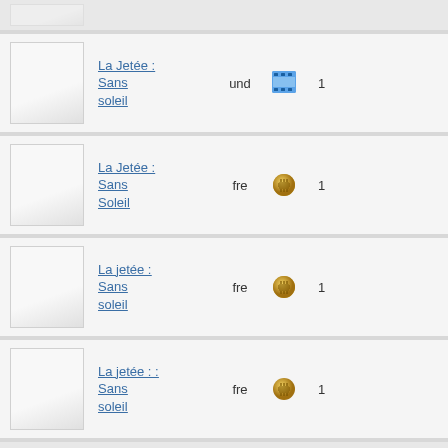La Jetée : Sans soleil | und | [film icon] | 1
La Jetée : Sans Soleil | fre | [chip icon] | 1
La jetée : Sans soleil | fre | [chip icon] | 1
La jetée : : Sans soleil | fre | [chip icon] | 1